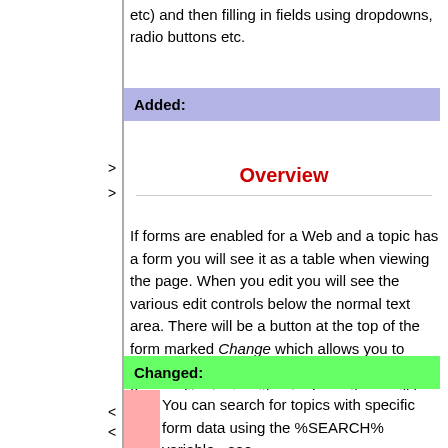etc) and then filling in fields using dropdowns, radio buttons etc.
Added:
Overview
If forms are enabled for a Web and a topic has a form you will see it as a table when viewing the page. When you edit you will see the various edit controls below the normal text area. There will be a button at the top of the form marked Change which allows you to change to a different form, or remove the form. If you edit a topic without a form, there will be a button Add Form, that let's you associate a form with the topic; note that changes you have made to the topic are not lost when you select this option.
Changed:
You can search for topics with specific form data using the %SEARCH% variable - see TWikiVariables.